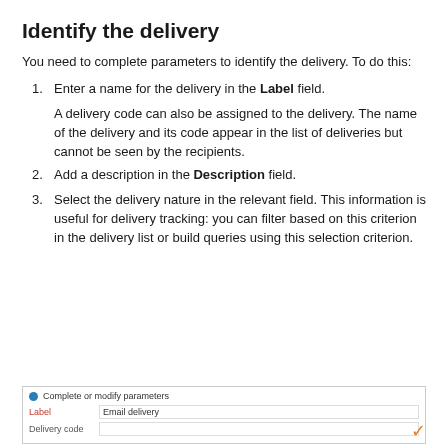Identify the delivery
You need to complete parameters to identify the delivery. To do this:
Enter a name for the delivery in the Label field.

A delivery code can also be assigned to the delivery. The name of the delivery and its code appear in the list of deliveries but cannot be seen by the recipients.
Add a description in the Description field.
Select the delivery nature in the relevant field. This information is useful for delivery tracking: you can filter based on this criterion in the delivery list or build queries using this selection criterion.
[Figure (screenshot): Screenshot of a form with fields: Label (filled with 'Email delivery') and Delivery code (empty), with a blue info icon and 'Complete or modify parameters' label at the top, and a checkmark icon at the bottom right.]